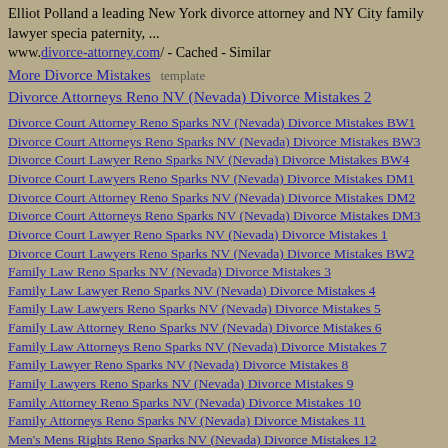Elliot Polland a leading New York divorce attorney and NY City family lawyer specia paternity, ...
www.divorce-attorney.com/ - Cached - Similar
More Divorce Mistakes   template
Divorce Attorneys Reno NV (Nevada) Divorce Mistakes 2
Divorce Court Attorney Reno Sparks NV (Nevada) Divorce Mistakes BW1
Divorce Court Attorneys Reno Sparks NV (Nevada) Divorce Mistakes BW3
Divorce Court Lawyer Reno Sparks NV (Nevada) Divorce Mistakes BW4
Divorce Court Lawyers Reno Sparks NV (Nevada) Divorce Mistakes DM1
Divorce Court Attorney Reno Sparks NV (Nevada) Divorce Mistakes DM2
Divorce Court Attorneys Reno Sparks NV (Nevada) Divorce Mistakes DM3
Divorce Court Lawyer Reno Sparks NV (Nevada) Divorce Mistakes 1
Divorce Court Lawyers Reno Sparks NV (Nevada) Divorce Mistakes BW2
Family Law Reno Sparks NV (Nevada) Divorce Mistakes 3
Family Law Lawyer Reno Sparks NV (Nevada) Divorce Mistakes 4
Family Law Lawyers Reno Sparks NV (Nevada) Divorce Mistakes 5
Family Law Attorney Reno Sparks NV (Nevada) Divorce Mistakes 6
Family Law Attorneys Reno Sparks NV (Nevada) Divorce Mistakes 7
Family Lawyer Reno Sparks NV (Nevada) Divorce Mistakes 8
Family Lawyers Reno Sparks NV (Nevada) Divorce Mistakes 9
Family Attorney Reno Sparks NV (Nevada) Divorce Mistakes 10
Family Attorneys Reno Sparks NV (Nevada) Divorce Mistakes 11
Men's Mens Rights Reno Sparks NV (Nevada) Divorce Mistakes 12
Men's Mens Rights Attorney Reno Sparks NV (Nevada) Divorce Mistakes 13
Men's Mens Rights Attorneys Reno Sparks NV (Nevada) Divorce Mistakes 14
Men's Mens Rights Lawyer Reno Sparks NV (Nevada) Divorce Mistakes 15
Men's Mens Rights Lawyers Reno Sparks NV (Nevada) Divorce Mistakes 16